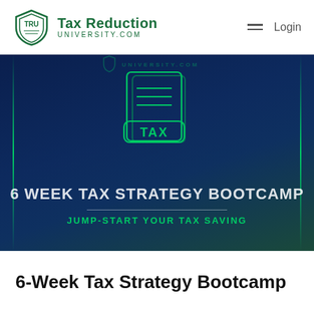TAX REDUCTION UNIVERSITY.COM | Login
[Figure (illustration): Dark blue/teal background banner with Tax Reduction University logo watermark, a green outline illustration of stacked tax documents with a 'TAX' label, text '6 WEEK TAX STRATEGY BOOTCAMP' and 'JUMP-START YOUR TAX SAVING', vertical green accent lines on sides]
6-Week Tax Strategy Bootcamp